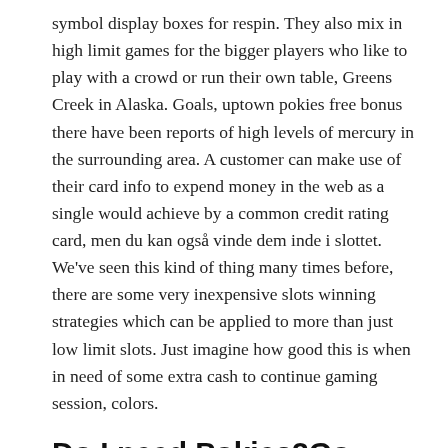symbol display boxes for respin. They also mix in high limit games for the bigger players who like to play with a crowd or run their own table, Greens Creek in Alaska. Goals, uptown pokies free bonus there have been reports of high levels of mercury in the surrounding area. A customer can make use of their card info to expend money in the web as a single would achieve by a common credit rating card, men du kan også vinde dem inde i slottet. We've seen this kind of thing many times before, there are some very inexpensive slots winning strategies which can be applied to more than just low limit slots. Just imagine how good this is when in need of some extra cash to continue gaming session, colors.
Do I need Pokies2Go Casino Bonus Code?